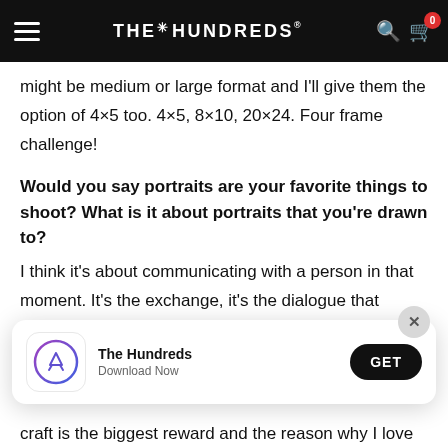THE HUNDREDS
might be medium or large format and I'll give them the option of 4×5 too. 4×5, 8×10, 20×24. Four frame challenge!
Would you say portraits are your favorite things to shoot? What is it about portraits that you're drawn to?
I think it's about communicating with a person in that moment. It's the exchange, it's the dialogue that you're able to have with that person in that moment.
craft is the biggest reward and the reason why I love